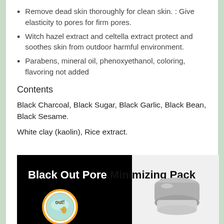Remove dead skin thoroughly for clean skin. : Give elasticity to pores for firm pores.
Witch hazel extract and celtella extract protect and soothes skin from outdoor harmful environment.
Parabens, mineral oil, phenoxyethanol, coloring, flavoring not added
Contents
Black Charcoal, Black Sugar, Black Garlic, Black Bean, Black Sesame.
White clay (kaolin), Rice extract.
[Figure (photo): Product image of Black Out Pore Minimizing Pack showing black background on left with product title overlay, a circular 'out!' logo graphic, and a product container on the right against a light background.]